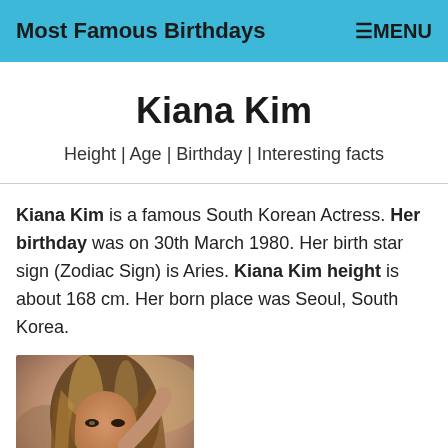Most Famous Birthdays  ☰MENU
Kiana Kim
Height | Age | Birthday | Interesting facts
Kiana Kim is a famous South Korean Actress. Her birthday was on 30th March 1980. Her birth star sign (Zodiac Sign) is Aries. Kiana Kim height is about 168 cm. Her born place was Seoul, South Korea.
[Figure (photo): Photo of Kiana Kim, a woman with long highlighted brown hair posing with her hand raised near her head]